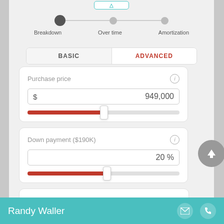[Figure (screenshot): Mobile mortgage calculator app UI showing step indicator with Breakdown (active), Over time, and Amortization steps, plus BASIC/ADVANCED toggle, Purchase price input field showing $949,000 with red slider, and Down payment input showing 20% with red slider. Footer shows Randy Waller with teal background.]
Breakdown
Over time
Amortization
BASIC
ADVANCED
Purchase price
$ 949,000
Down payment ($190K)
20 %
Randy Waller